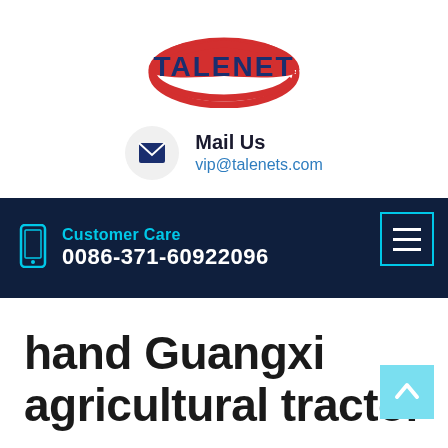[Figure (logo): TALENET company logo with red swoosh oval and blue bold text]
Mail Us
vip@talenets.com
[Figure (infographic): Dark navy navigation bar with hamburger menu icon (cyan border) on the right, and Customer Care section on the left with phone icon, 'Customer Care' label in cyan, and phone number '0086-371-60922096' in white bold text]
hand Guangxi agricultural tractor